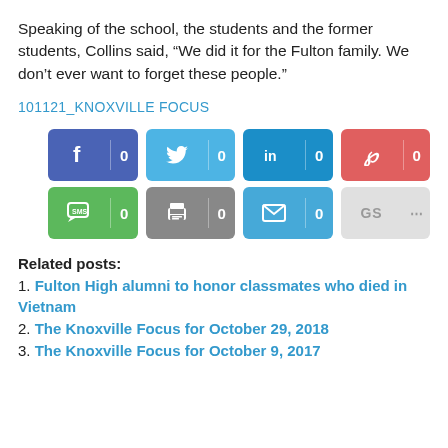Speaking of the school, the students and the former students, Collins said, “We did it for the Fulton family. We don’t ever want to forget these people.”
101121_KNOXVILLE FOCUS
[Figure (infographic): Social share buttons row 1: Facebook (0), Twitter (0), LinkedIn (0), Pinterest (0); row 2: SMS (0), Print (0), Email (0), GS (...)]
Related posts:
1. Fulton High alumni to honor classmates who died in Vietnam
2. The Knoxville Focus for October 29, 2018
3. The Knoxville Focus for October 9, 2017